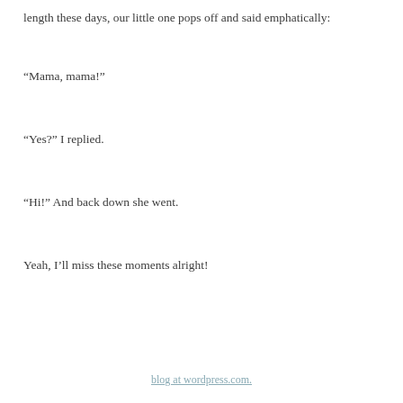length these days, our little one pops off and said emphatically:
“Mama, mama!”
“Yes?” I replied.
“Hi!” And back down she went.
Yeah, I’ll miss these moments alright!
blog at wordpress.com.